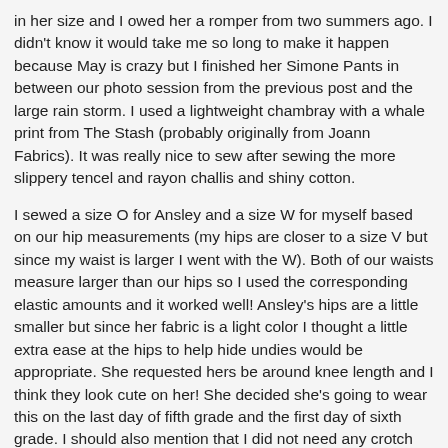in her size and I owed her a romper from two summers ago. I didn't know it would take me so long to make it happen because May is crazy but I finished her Simone Pants in between our photo session from the previous post and the large rain storm. I used a lightweight chambray with a whale print from The Stash (probably originally from Joann Fabrics). It was really nice to sew after sewing the more slippery tencel and rayon challis and shiny cotton.
I sewed a size O for Ansley and a size W for myself based on our hip measurements (my hips are closer to a size V but since my waist is larger I went with the W). Both of our waists measure larger than our hips so I used the corresponding elastic amounts and it worked well! Ansley's hips are a little smaller but since her fabric is a light color I thought a little extra ease at the hips to help hide undies would be appropriate. She requested hers be around knee length and I think they look cute on her! She decided she's going to wear this on the last day of fifth grade and the first day of sixth grade. I should also mention that I did not need any crotch adjustments like I some times do and no calf adjustments (because the pants are wide legged!)